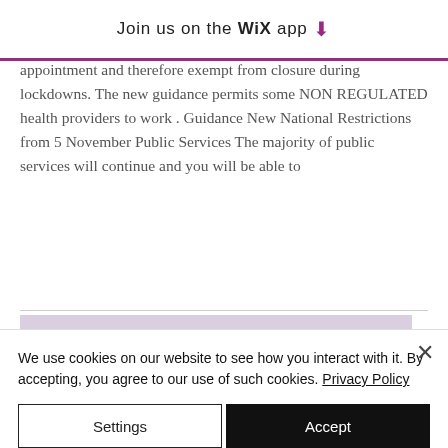Join us on the WiX app ↓
appointment and therefore exempt from closure during lockdowns. The new guidance permits some NON REGULATED health providers to work . Guidance New National Restrictions from 5 November Public Services The majority of public services will continue and you will be able to
Covid-19 government
We use cookies on our website to see how you interact with it. By accepting, you agree to our use of such cookies. Privacy Policy
Settings
Accept